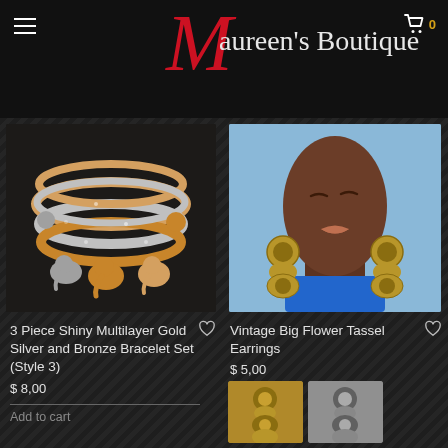Maureen's Boutique
[Figure (photo): 3 piece shiny multilayer gold silver and bronze bracelet set with elephant charms]
[Figure (photo): Woman wearing vintage big flower tassel earrings in gold]
3 Piece Shiny Multilayer Gold Silver and Bronze Bracelet Set (Style 3)
$ 8,00
Add to cart
Vintage Big Flower Tassel Earrings
$ 5,00
[Figure (photo): Gold flower tassel earring thumbnail]
[Figure (photo): Silver flower tassel earring thumbnail]